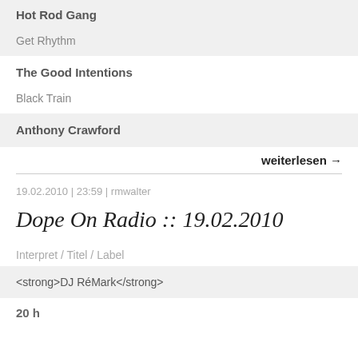Hot Rod Gang
Get Rhythm
The Good Intentions
Black Train
Anthony Crawford
weiterlesen →
19.02.2010 | 23:59 | rmwalter
Dope On Radio :: 19.02.2010
Interpret / Titel / Label
<strong>DJ RéMark</strong>
20 h